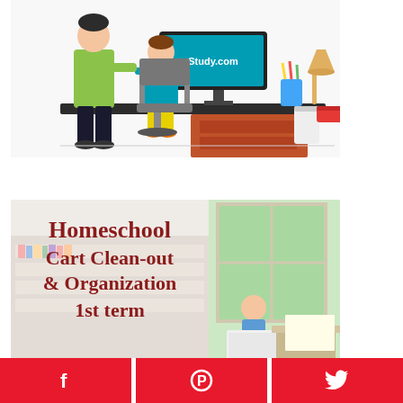[Figure (illustration): Cartoon illustration of a parent standing behind a child sitting at a desk using a computer monitor showing Study.com logo, with a desk lamp and pencil holder in the background. Brown desk with drawers, office chair, and trash cans visible.]
[Figure (photo): Photo with text overlay reading 'Homeschool Cart Clean-out & Organization 1st term', showing a child among shelving/cart organization supplies near a bright window.]
[Figure (infographic): Social sharing bar at the bottom with three buttons: Facebook (f icon), Pinterest (P icon), Twitter (bird icon), all in red (#e8192c) separated by white gaps.]